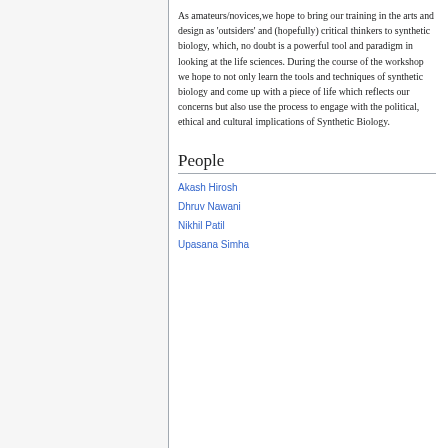As amateurs/novices,we hope to bring our training in the arts and design as 'outsiders' and (hopefully) critical thinkers to synthetic biology, which, no doubt is a powerful tool and paradigm in looking at the life sciences. During the course of the workshop we hope to not only learn the tools and techniques of synthetic biology and come up with a piece of life which reflects our concerns but also use the process to engage with the political, ethical and cultural implications of Synthetic Biology.
People
Akash Hirosh
Dhruv Nawani
Nikhil Patil
Upasana Simha